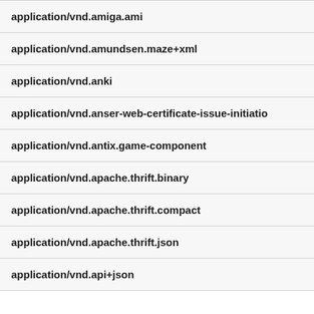| application/vnd.amiga.ami |
| application/vnd.amundsen.maze+xml |
| application/vnd.anki |
| application/vnd.anser-web-certificate-issue-initiatio |
| application/vnd.antix.game-component |
| application/vnd.apache.thrift.binary |
| application/vnd.apache.thrift.compact |
| application/vnd.apache.thrift.json |
| application/vnd.api+json |